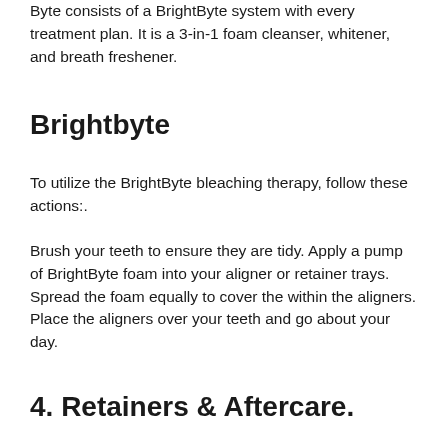Byte consists of a BrightByte system with every treatment plan. It is a 3-in-1 foam cleanser, whitener, and breath freshener.
Brightbyte
To utilize the BrightByte bleaching therapy, follow these actions:.
Brush your teeth to ensure they are tidy. Apply a pump of BrightByte foam into your aligner or retainer trays. Spread the foam equally to cover the within the aligners. Place the aligners over your teeth and go about your day.
4. Retainers & Aftercare.